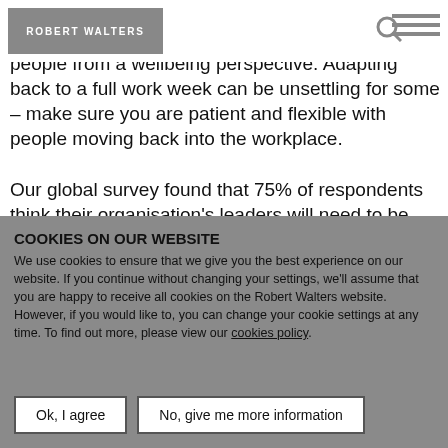ROBERT WALTERS
empathy. It is important to not just share new procedures but also reference how this impacts people from a wellbeing perspective. Adapting back to a full work week can be unsettling for some – make sure you are patient and flexible with people moving back into the workplace.

Our global survey found that 75% of respondents think their organisation's leaders will need to be more empathetic to work-life balance and what it means for different employees. It also revealed 46% think their organisation's leaders will need to have a better understanding of mental health and wellbeing. Consider
COOKIES ON OUR WEBSITE
We use cookies to ensure that we give you the best experience on our website. If you continue without changing your settings, we'll assume that you are happy to receive all cookies on the Robert Walters website. However, if you would like to, you can change your cookie settings at any time. To find out more, please view our cookies policy.
Ok, I agree | No, give me more information